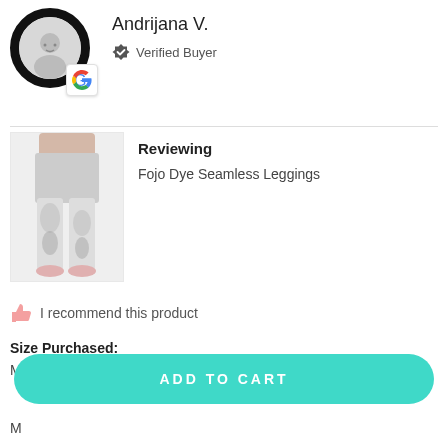Andrijana V.
Verified Buyer
[Figure (photo): Product photo of tie-dye seamless leggings worn by a model]
Reviewing
Fojo Dye Seamless Leggings
I recommend this product
Size Purchased:
M
ADD TO CART
M